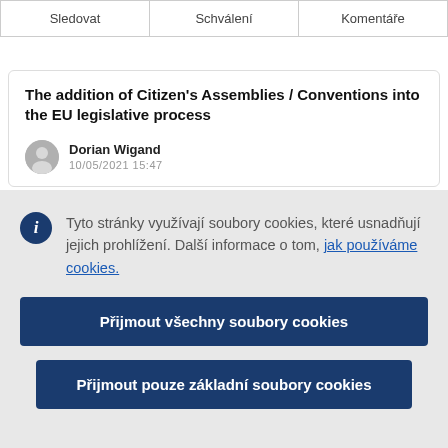| Sledovat | Schválení | Komentáře |
| --- | --- | --- |
|  |
The addition of Citizen's Assemblies / Conventions into the EU legislative process
Dorian Wigand
Tyto stránky využívají soubory cookies, které usnadňují jejich prohlížení. Další informace o tom, jak používáme cookies.
Přijmout všechny soubory cookies
Přijmout pouze základní soubory cookies